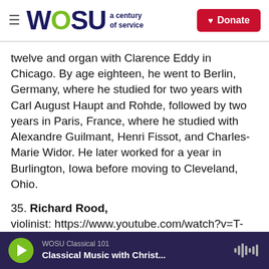WOSU a century of service | Donate
twelve and organ with Clarence Eddy in Chicago. By age eighteen, he went to Berlin, Germany, where he studied for two years with Carl August Haupt and Rohde, followed by two years in Paris, France, where he studied with Alexandre Guilmant, Henri Fissot, and Charles-Marie Widor. He later worked for a year in Burlington, Iowa before moving to Cleveland, Ohio.
35. Richard Rood, violinist: https://www.youtube.com/watch?v=T-jY6TkvhdY
WOSU Classical 101 | Classical Music with Christ...